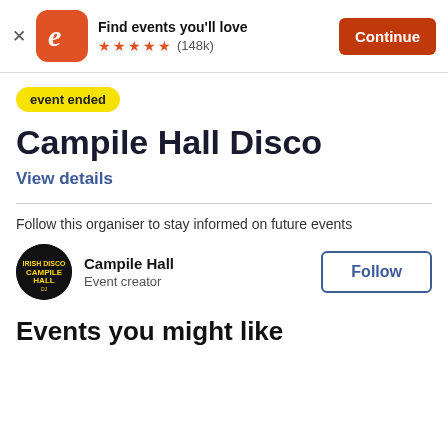Find events you'll love ★★★★★ (148k) Continue
event ended
Campile Hall Disco
View details
Follow this organiser to stay informed on future events
Campile Hall
Event creator
Follow
Events you might like